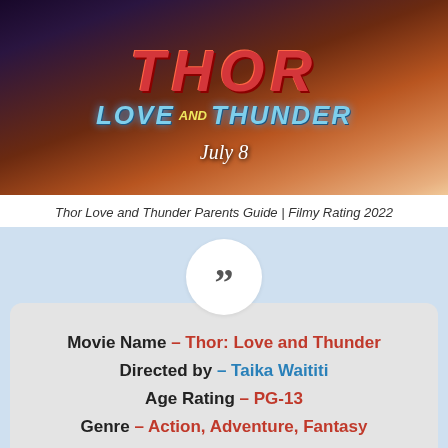[Figure (photo): Thor Love and Thunder movie poster showing the film title with 'Love and Thunder' in blue metallic letters and 'July 8' written in white script against a dramatic orange and purple background]
Thor Love and Thunder Parents Guide | Filmy Rating 2022
Movie Name – Thor: Love and Thunder
Directed by – Taika Waititi
Age Rating – PG-13
Genre – Action, Adventure, Fantasy
Release Date – July 8, 2022
Aspect ratio – 2.39 : 1